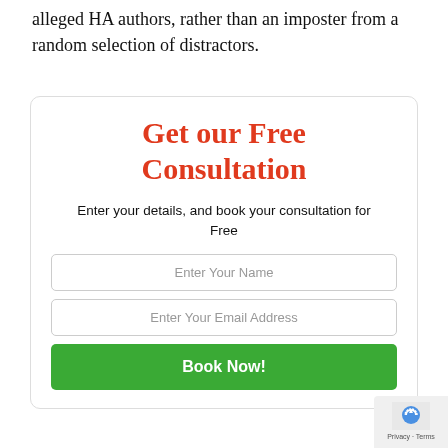alleged HA authors, rather than an imposter from a random selection of distractors.
Get our Free Consultation
Enter your details, and book your consultation for Free
Enter Your Name
Enter Your Email Address
Book Now!